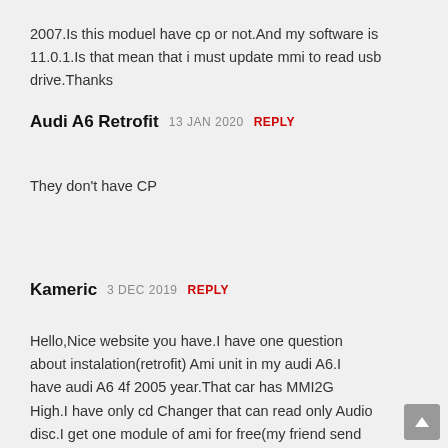2007.Is this moduel have cp or not.And my software is 11.0.1.Is that mean that i must update mmi to read usb drive.Thanks
Audi A6 Retrofit 13 JAN 2020 REPLY
They don't have CP
Kameric 3 DEC 2019 REPLY
Hello,Nice website you have.I have one question about instalation(retrofit) Ami unit in my audi A6.I have audi A6 4f 2005 year.That car has MMI2G High.I have only cd Changer that can read only Audio disc.I get one module of ami for free(my friend send me gift,that module is from audi avant a6 4f 2007).Can i install this module in my car.Does need CP removing or not,and